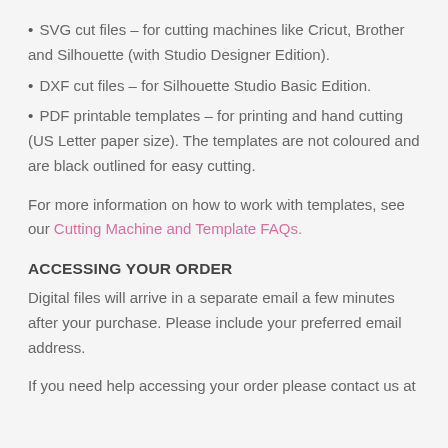SVG cut files – for cutting machines like Cricut, Brother and Silhouette (with Studio Designer Edition).
DXF cut files – for Silhouette Studio Basic Edition.
PDF printable templates – for printing and hand cutting (US Letter paper size). The templates are not coloured and are black outlined for easy cutting.
For more information on how to work with templates, see our Cutting Machine and Template FAQs.
ACCESSING YOUR ORDER
Digital files will arrive in a separate email a few minutes after your purchase. Please include your preferred email address.
If you need help accessing your order please contact us at